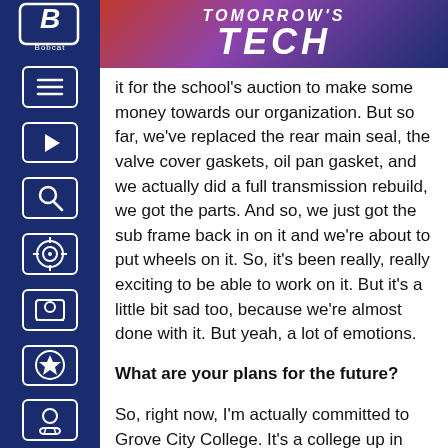TOMORROW'S TECH
it for the school's auction to make some money towards our organization. But so far, we've replaced the rear main seal, the valve cover gaskets, oil pan gasket, and we actually did a full transmission rebuild, we got the parts. And so, we just got the sub frame back in on it and we're about to put wheels on it. So, it's been really, really exciting to be able to work on it. But it's a little bit sad too, because we're almost done with it. But yeah, a lot of emotions.
What are your plans for the future?
So, right now, I'm actually committed to Grove City College. It's a college up in Pennsylvania. I'll be majoring in biblical and religious studies and